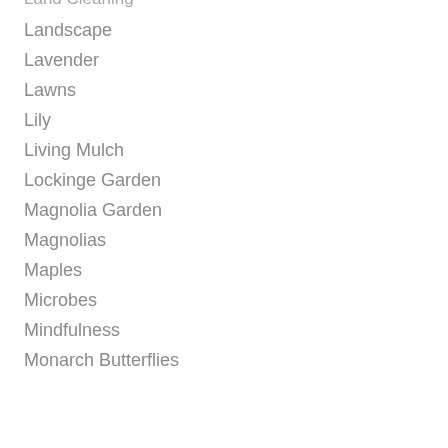Land Cleaning
Landscape
Lavender
Lawns
Lily
Living Mulch
Lockinge Garden
Magnolia Garden
Magnolias
Maples
Microbes
Mindfulness
Monarch Butterflies